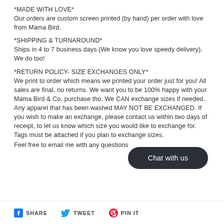*MADE WITH LOVE*
Our orders are custom screen printed (by hand) per order with love from Mama Bird.
*SHIPPING & TURNAROUND*
Ships in 4 to 7 business days (We know you love speedy delivery). We do too!
*RETURN POLICY- SIZE EXCHANGES ONLY*
We print to order which means we printed your order just for you! All sales are final, no returns. We want you to be 100% happy with your Mama Bird & Co. purchase tho. We CAN exchange sizes if needed. Any apparel that has been washed MAY NOT BE EXCHANGED. If you wish to make an exchange, please contact us within two days of receipt, to let us know which size you would like to exchange for. Tags must be attached if you plan to exchange sizes.
Feel free to email me with any questions
SHARE  TWEET  PIN IT